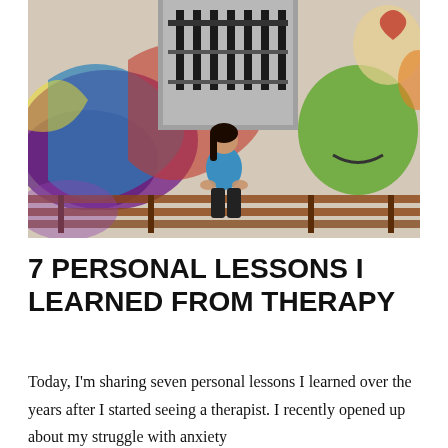[Figure (photo): A woman in a blue tank top and black pants sits on bleachers in front of a colorful graffiti-covered wall, looking to the side thoughtfully.]
7 PERSONAL LESSONS I LEARNED FROM THERAPY
Today, I'm sharing seven personal lessons I learned over the years after I started seeing a therapist. I recently opened up about my struggle with anxiety